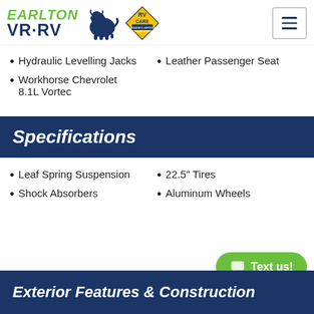[Figure (logo): Earlton VR-RV logo with bison graphic and RV Care diamond badge]
Hydraulic Levelling Jacks
Leather Passenger Seat
Workhorse Chevrolet 8.1L Vortec
Specifications
Leaf Spring Suspension
22.5" Tires
Shock Absorbers
Aluminum Wheels
Exterior Features & Construction